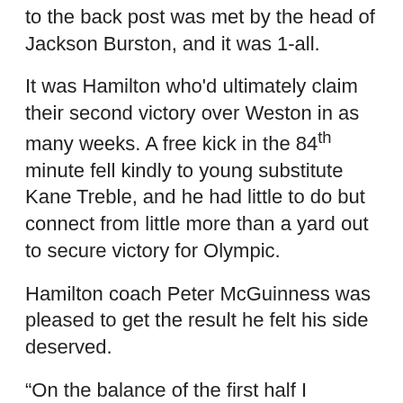to the back post was met by the head of Jackson Burston, and it was 1-all.
It was Hamilton who'd ultimately claim their second victory over Weston in as many weeks. A free kick in the 84th minute fell kindly to young substitute Kane Treble, and he had little to do but connect from little more than a yard out to secure victory for Olympic.
Hamilton coach Peter McGuinness was pleased to get the result he felt his side deserved.
“On the balance of the first half I thought we deserved the lead, second half I thought we dug ourselves into a hole,” said McGuinness.
“They changed a bit of their formation and